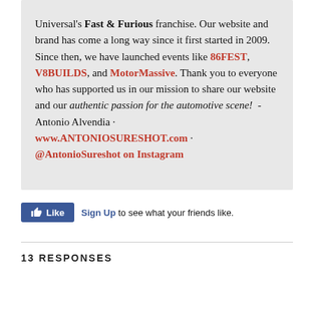Universal's Fast & Furious franchise. Our website and brand has come a long way since it first started in 2009. Since then, we have launched events like 86FEST, V8BUILDS, and MotorMassive. Thank you to everyone who has supported us in our mission to share our website and our authentic passion for the automotive scene!  -Antonio Alvendia · www.ANTONIOSURESHOT.com · @AntonioSureshot on Instagram
[Figure (other): Facebook Like button widget with 'Sign Up to see what your friends like.' text]
13 RESPONSES